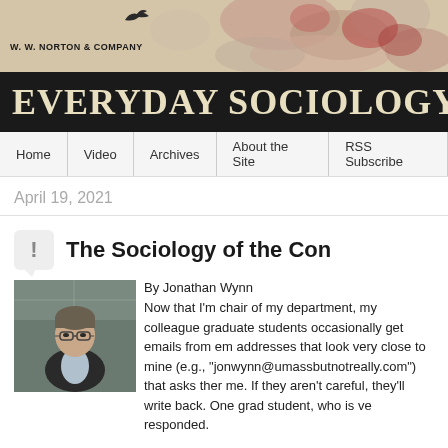[Figure (logo): W. W. Norton & Company logo with bird and decorative artwork banner]
EVERYDAY SOCIOLOGY BL
Home | Video | Archives | About the Site | RSS Subscribe
April 19, 2021
The Sociology of the Con
[Figure (photo): Photo of Jonathan Wynn, a man with glasses wearing a dark blazer]
By Jonathan Wynn
Now that I'm chair of my department, my colleague graduate students occasionally get emails from em addresses that look very close to mine (e.g., "jonwynn@umassbutnotreally.com") that asks ther me. If they aren't careful, they'll write back. One grad student, who is ve responded.